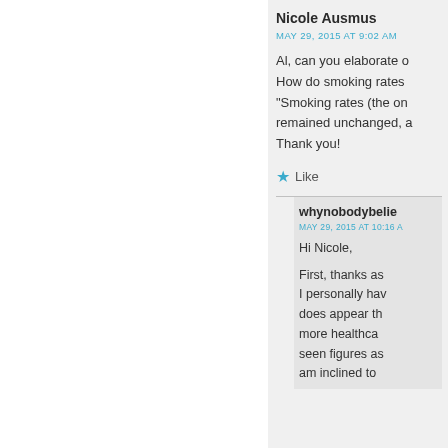Nicole Ausmus
MAY 29, 2015 AT 9:02 AM
Al, can you elaborate o... How do smoking rates... "Smoking rates (the on... remained unchanged, a... Thank you!
Like
whynobodybelie...
MAY 29, 2015 AT 10:16 A...
Hi Nicole,
First, thanks as... I personally hav... does appear th... more healthca... seen figures as... am inclined to...